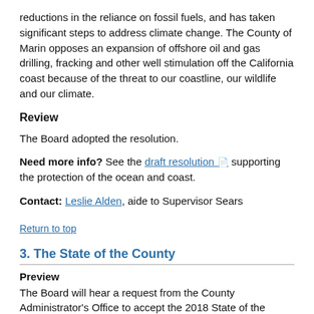reductions in the reliance on fossil fuels, and has taken significant steps to address climate change. The County of Marin opposes an expansion of offshore oil and gas drilling, fracking and other well stimulation off the California coast because of the threat to our coastline, our wildlife and our climate.
Review
The Board adopted the resolution.
Need more info? See the draft resolution supporting the protection of the ocean and coast.
Contact: Leslie Alden, aide to Supervisor Sears
Return to top
3. The State of the County
Preview
The Board will hear a request from the County Administrator's Office to accept the 2018 State of the County message and the